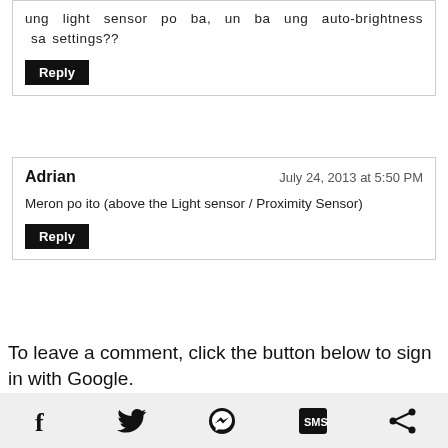ung light sensor po ba, un ba ung auto-brightness sa settings??
Reply
Adrian
July 24, 2013 at 5:50 PM
Meron po ito (above the Light sensor / Proximity Sensor)
Reply
To leave a comment, click the button below to sign in with Google.
SIGN IN WITH GOOGLE
[Figure (other): Social sharing bar with Facebook, Twitter, Messenger, SMS, and Share icons]